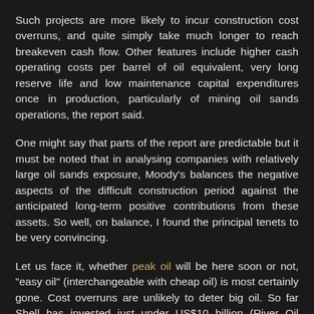Such projects are more likely to incur construction cost overruns, and quite simply take much longer to reach breakeven cash flow. Other features include higher cash operating costs per barrel of oil equivalent, very long reserve life and low maintenance capital expenditures once in production, particularly of mining oil sands operations, the report said.
One might say that parts of the report are predictable but it must be noted that in analysing companies with relatively large oil sands exposure, Moody's balances the negative aspects of the difficult construction period against the anticipated long-term positive contributions from these assets. So well, on balance, I found the principal tenets to be very convincing.
Let us face it, whether peak oil will be here soon or not, "easy oil" (interchangeable with cheap oil) is most certainly gone. Cost overruns are unlikely to deter big oil. So far Shell has invested just under US$10 billion (River Oil Sands), Chevron US$9 billion (Athabasca), ExxonMobil US$5 billion